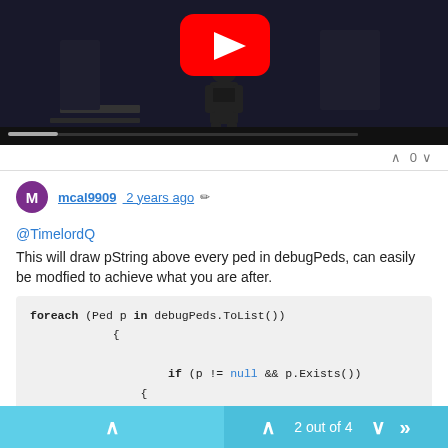[Figure (screenshot): YouTube video thumbnail showing a person in a dark game scene (GTA-style) with a YouTube play button overlay and a progress bar at the bottom.]
∧ 0 ∨
mcal9909 2 years ago ✎
@TimelordQ
This will draw pString above every ped in debugPeds, can easily be modfied to achieve what you are after.
foreach (Ped p in debugPeds.ToList())
            {

                    if (p != null && p.Exists())
                    {
                        if (p.IsOnScreen && p.IsVisible)
∧  ∧ 2 out of 4 ∨  ≫